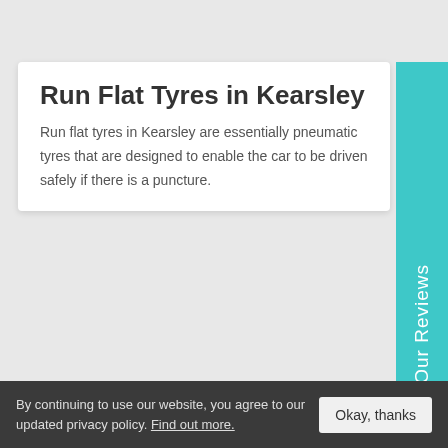Run Flat Tyres in Kearsley
Run flat tyres in Kearsley are essentially pneumatic tyres that are designed to enable the car to be driven safely if there is a puncture.
Run Flat Tyres in Swinton
It's not easy to find run flat tyres in Swinton, unless you get in touch with Whitecroft Garage.
Run Flat Tyres in Clifton
By continuing to use our website, you agree to our updated privacy policy. Find out more.